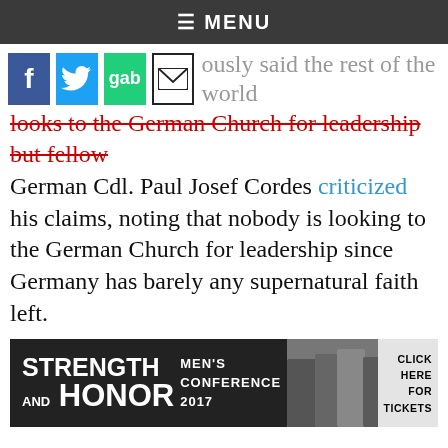≡ MENU
[Figure (other): Social media sharing buttons: Facebook (blue), Twitter (light blue), Gab (green), Email (envelope icon)]
...ously said the rest of the world looks to the German Church for leadership but fellow German Cdl. Paul Josef Cordes criticized his claims, noting that nobody is looking to the German Church for leadership since Germany has barely any supernatural faith left.
[Figure (infographic): Strength and Honor Men's Conference 2017 advertisement banner with men in background and 'CLICK HERE FOR TICKETS' text]
Have a news tip? Submit news to our tip line.
[Figure (infographic): Help us prepare for war. Donate today. Banner with watermark logos.]
We rely on you to support our news. Please donate today.